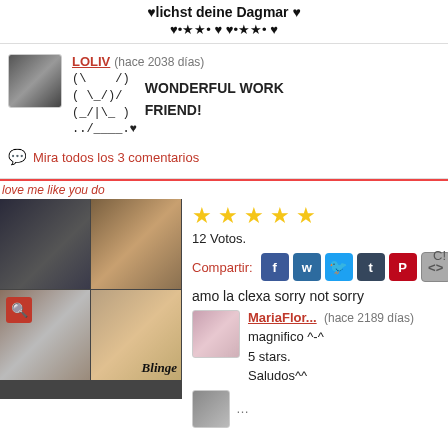♥lichst deine Dagmar ♥
♥•★★• ♥ ♥•★★• ♥
LOLIV (hace 2038 días)
(\ /)
( \_/)/ WONDERFUL WORK
(_/|\_ ) FRIEND!
../____ \.♥
Mira todos los 3 comentarios
love me like you do
[Figure (photo): Grid of 4 movie/TV scene images with Blinge watermark and red search icon]
★★★★★
12 Votos.
Compartir:
amo la clexa sorry not sorry
MariaFlor... (hace 2189 días)
magnifico ^-^
5 stars.
Saludos^^